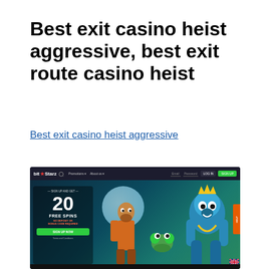Best exit casino heist aggressive, best exit route casino heist
Best exit casino heist aggressive
[Figure (screenshot): BitStarz casino website screenshot showing a promotional banner with '20 FREE SPINS NO DEPOSIT OR BONUS CODE REQUIRED' offer and a 'SIGN UP NOW' button, featuring cartoon characters including a gorilla, human, and frog against a teal moonlit background.]